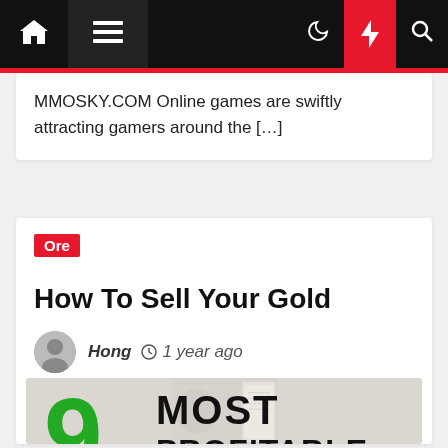Navigation bar with home, menu, moon, lightning, search icons
MMOSKY.COM Online games are swiftly attracting gamers around the […]
Ore
How To Sell Your Gold
Hong  1 year ago
[Figure (photo): Infographic image showing '9 Most Profitable' text with a large green 9 numeral on a light background]